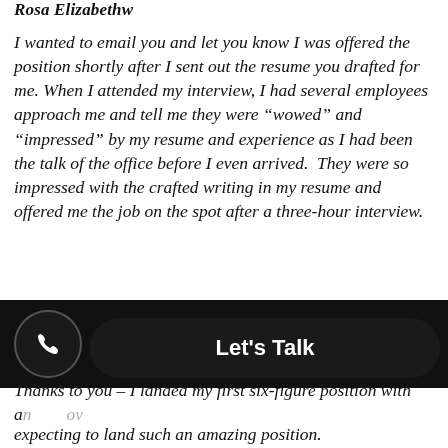Rosa Elizabethw
I wanted to email you and let you know I was offered the position shortly after I sent out the resume you drafted for me. When I attended my interview, I had several employees approach me and tell me they were “wowed” and “impressed” by my resume and experience as I had been the talk of the office before I even arrived.  They were so impressed with the crafted writing in my resume and offered me the job on the spot after a three-hour interview.
Thanks to you – I landed my first six-figure position with an... ov...
expecting to land such an amazing position.
[Figure (other): Mobile UI overlay with a phone call button (circular, black) and a 'Let's Talk' button (rounded rectangle, black with white bold text)]